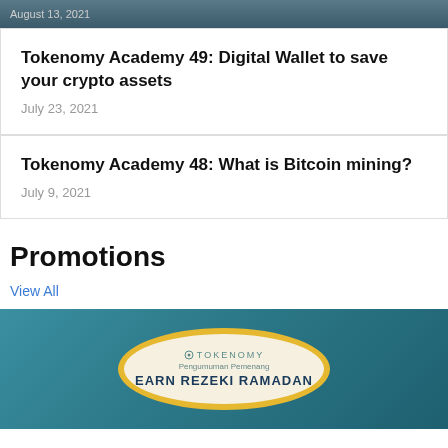[Figure (photo): Top partial image with date text 'August 13, 2021' overlaid on a dark photo background]
Tokenomy Academy 49: Digital Wallet to save your crypto assets
July 23, 2021
Tokenomy Academy 48: What is Bitcoin mining?
July 9, 2021
Promotions
View All
[Figure (photo): Tokenomy promotional banner with teal/blue background, oval shape with gold border, Tokenomy logo, text 'Pengumuman Pemenang' and 'EARN REZEKI RAMADAN']